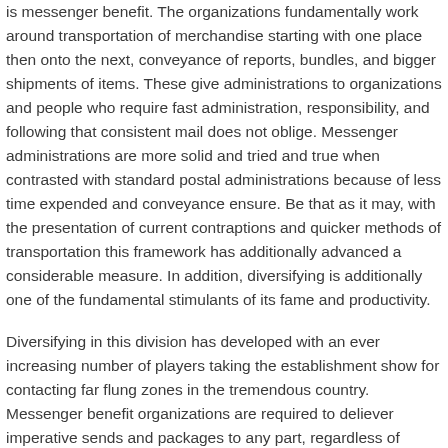is messenger benefit. The organizations fundamentally work around transportation of merchandise starting with one place then onto the next, conveyance of reports, bundles, and bigger shipments of items. These give administrations to organizations and people who require fast administration, responsibility, and following that consistent mail does not oblige. Messenger administrations are more solid and tried and true when contrasted with standard postal administrations because of less time expended and conveyance ensure. Be that as it may, with the presentation of current contraptions and quicker methods of transportation this framework has additionally advanced a considerable measure. In addition, diversifying is additionally one of the fundamental stimulants of its fame and productivity.
Diversifying in this division has developed with an ever increasing number of players taking the establishment show for contacting far flung zones in the tremendous country. Messenger benefit organizations are required to deliever imperative sends and packages to any part, regardless of whether city, town or town in the nation. In this way, diversifying can be the best mode for ensured